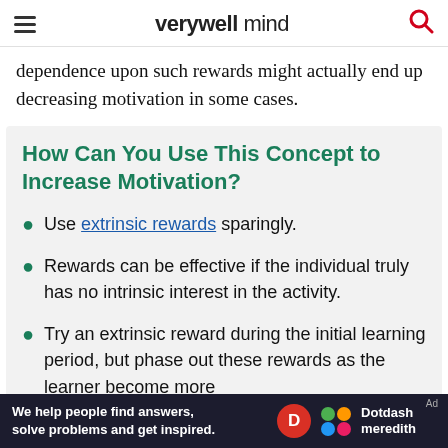verywell mind
dependence upon such rewards might actually end up decreasing motivation in some cases.
How Can You Use This Concept to Increase Motivation?
Use extrinsic rewards sparingly.
Rewards can be effective if the individual truly has no intrinsic interest in the activity.
Try an extrinsic reward during the initial learning period, but phase out these rewards as the learner become more
We help people find answers, solve problems and get inspired. Dotdash meredith Ad